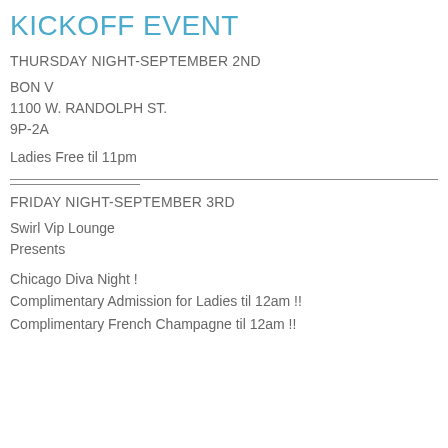KICKOFF EVENT
THURSDAY NIGHT-SEPTEMBER 2ND
BON V
1100 W. RANDOLPH ST.
9P-2A
Ladies Free til 11pm
FRIDAY NIGHT-SEPTEMBER 3RD
Swirl Vip Lounge
Presents
Chicago Diva Night !
Complimentary Admission for Ladies til 12am !!
Complimentary French Champagne til 12am !!